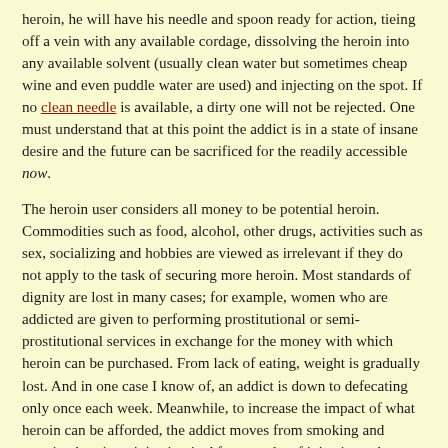heroin, he will have his needle and spoon ready for action, tieing off a vein with any available cordage, dissolving the heroin into any available solvent (usually clean water but sometimes cheap wine and even puddle water are used) and injecting on the spot. If no clean needle is available, a dirty one will not be rejected. One must understand that at this point the addict is in a state of insane desire and the future can be sacrificed for the readily accessible now.
The heroin user considers all money to be potential heroin. Commodities such as food, alcohol, other drugs, activities such as sex, socializing and hobbies are viewed as irrelevant if they do not apply to the task of securing more heroin. Most standards of dignity are lost in many cases; for example, women who are addicted are given to performing prostitutional or semi-prostitutional services in exchange for the money with which heroin can be purchased. From lack of eating, weight is gradually lost. And in one case I know of, an addict is down to defecating only once each week. Meanwhile, to increase the impact of what heroin can be afforded, the addict moves from smoking and snorting heroin to injecting it. After months of injections, the veins become bruised, calloused and raw anywhere they approach the surface and can be accessed by needle. With the experience of injecting heroin, many addicts also begin injecting other drugs with which they are familiar, such as cocaine and even distilled alcohol.